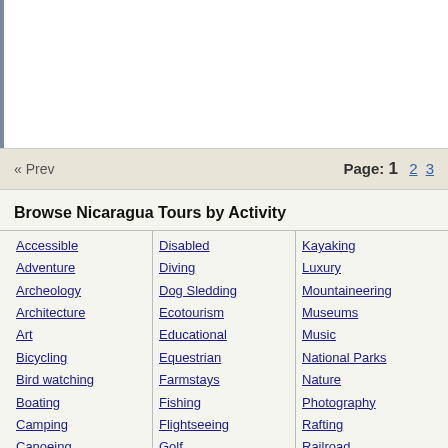« Prev   Page: 1 2 3
Browse Nicaragua Tours by Activity
Accessible
Adventure
Archeology
Architecture
Art
Bicycling
Bird watching
Boating
Camping
Canoeing
Climbing
Cross Country
Cruise
Culinary
Cultural
Disabled
Diving
Dog Sledding
Ecotourism
Educational
Equestrian
Farmstays
Fishing
Flightseeing
Golf
Hiking
Historical
Homestays
Honeymoon
Horseback
Kayaking
Luxury
Mountaineering
Museums
Music
National Parks
Nature
Photography
Rafting
Railroad
Rainforest
Sailing
Scuba/Snorkeling
Sightseeing
Singles